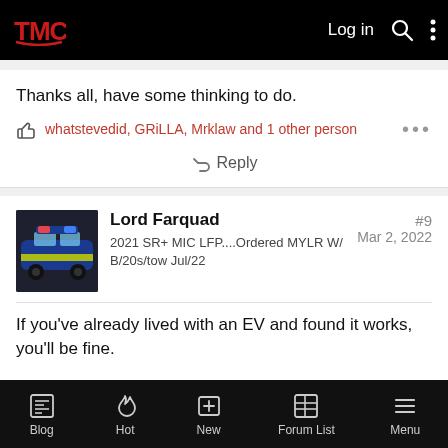TMC | Log in
Thanks all, have some thinking to do.
whatstevedid, GRiLLA, Mrklaw and 1 other person
Reply
Lord Farquad
2021 SR+ MIC LFP....Ordered MYLR W/ B/20s/tow Jul/22
#9
Mar 2, 2022
If you've already lived with an EV and found it works, you'll be fine.
Blog | Hot | New | Forum List | Menu